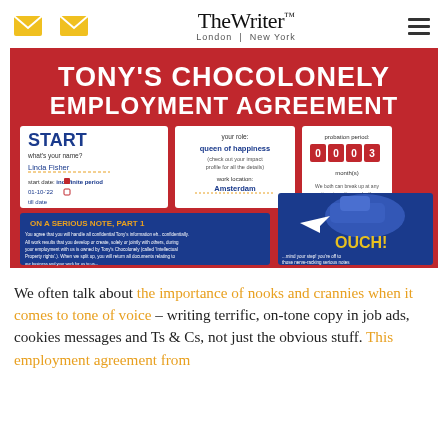TheWriter™ London | New York
[Figure (infographic): Tony's Chocolonely Employment Agreement infographic on a red background. Large white bold text reads 'TONY'S CHOCOLONELY EMPLOYMENT AGREEMENT'. Below are sections: START with name 'Linda Fisher', start date 01-10-'22, checkboxes for 'indefinite period' and 'till date'. Your role: 'queen of happiness (check out your impact profile for all the details)'. Work location: Amsterdam. Probation period: 0-0-0-3 months. Text about breaking collaboration. Blue section 'ON A SERIOUS NOTE, PART 1' with confidentiality text. Blue shoe graphic with arrow and 'OUCH!' text and '...mind your step! you're off to those nerve-racking serious notes'.]
We often talk about the importance of nooks and crannies when it comes to tone of voice – writing terrific, on-tone copy in job ads, cookies messages and Ts & Cs, not just the obvious stuff. This employment agreement from